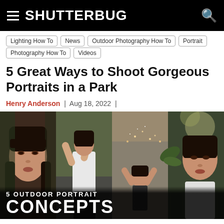SHUTTERBUG
Lighting How To
News
Outdoor Photography How To
Portrait
Photography How To
Videos
5 Great Ways to Shoot Gorgeous Portraits in a Park
Henry Anderson | Aug 18, 2022 |
[Figure (photo): Composite of four outdoor portrait photographs of a young woman in a park setting. Bottom overlay text reads '5 OUTDOOR PORTRAIT CONCEPTS'.]